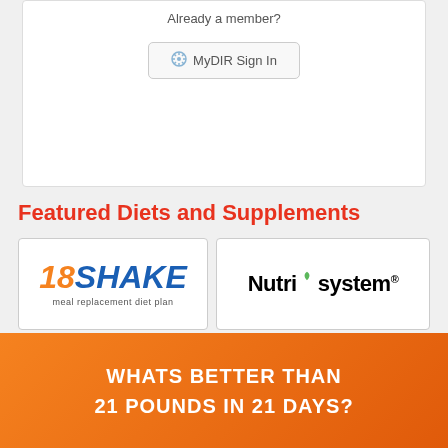Already a member?
[Figure (screenshot): MyDIR Sign In button with snowflake icon]
Featured Diets and Supplements
[Figure (logo): 18SHAKE meal replacement diet plan logo]
[Figure (logo): Nutrisystem logo with green leaf]
[Figure (logo): Shakeology logo with green leaf dot]
WHATS BETTER THAN 21 POUNDS IN 21 DAYS?